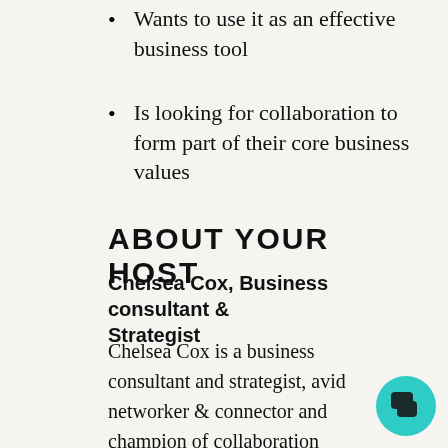Wants to use it as an effective business tool
Is looking for collaboration to form part of their core business values
ABOUT YOUR HOST
Chelsea Cox, Business consultant & Strategist
Chelsea Cox is a business consultant and strategist, avid networker & connector and champion of collaboration over competition. In a consultancy capacity, she helps people start, develop and strengthen their